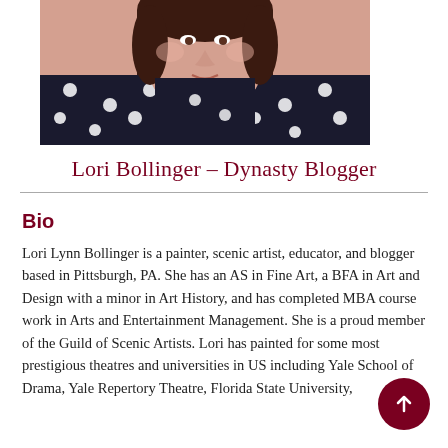[Figure (photo): Portrait photo of Lori Bollinger, a woman wearing a dark navy polka dot top and gold necklace, with dark hair, cropped at shoulders]
Lori Bollinger – Dynasty Blogger
Bio
Lori Lynn Bollinger is a painter, scenic artist, educator, and blogger based in Pittsburgh, PA. She has an AS in Fine Art, a BFA in Art and Design with a minor in Art History, and has completed MBA course work in Arts and Entertainment Management. She is a proud member of the Guild of Scenic Artists. Lori has painted for some most prestigious theatres and universities in US including Yale School of Drama, Yale Repertory Theatre, Florida State University,